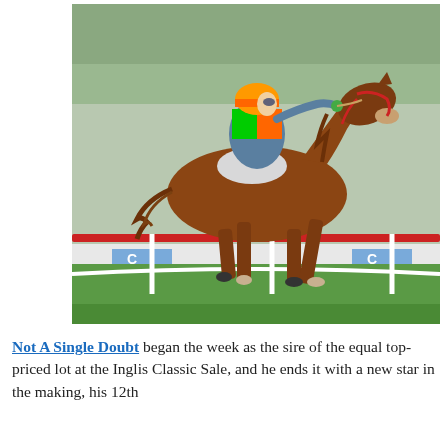[Figure (photo): A chestnut racehorse with a jockey in colorful green, orange, and blue silks galloping on a grass racing track. The horse has a red bridle and is caught mid-stride. Racing rails and advertising boards are visible in the background.]
Not A Single Doubt began the week as the sire of the equal top-priced lot at the Inglis Classic Sale, and he ends it with a new star in the making, his 12th